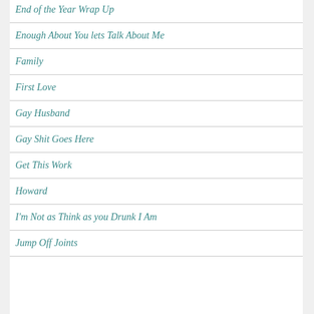End of the Year Wrap Up
Enough About You lets Talk About Me
Family
First Love
Gay Husband
Gay Shit Goes Here
Get This Work
Howard
I'm Not as Think as you Drunk I Am
Jump Off Joints